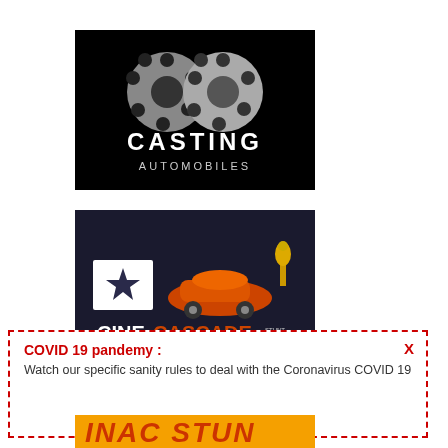[Figure (logo): Casting Automobiles logo: black background with two overlapping film reels in silver/grey, text CASTING in large white letters and AUTOMOBILES in smaller white letters below]
[Figure (logo): CineCascade logo: dark background with white star shape on left, orange sports car silhouette, text CINECASCADE in white and orange letters, small trophy figure on right, STUNT AWARD text]
X
COVID 19 pandemy : Watch our specific sanity rules to deal with the Coronavirus COVID 19
[Figure (other): Partial bottom banner with orange and red stylized text, partially cut off]